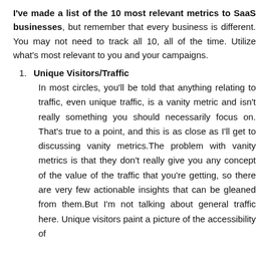I've made a list of the 10 most relevant metrics to SaaS businesses, but remember that every business is different. You may not need to track all 10, all of the time. Utilize what's most relevant to you and your campaigns.
1. Unique Visitors/Traffic
In most circles, you'll be told that anything relating to traffic, even unique traffic, is a vanity metric and isn't really something you should necessarily focus on. That's true to a point, and this is as close as I'll get to discussing vanity metrics.The problem with vanity metrics is that they don't really give you any concept of the value of the traffic that you're getting, so there are very few actionable insights that can be gleaned from them.But I'm not talking about general traffic here. Unique visitors paint a picture of the accessibility of